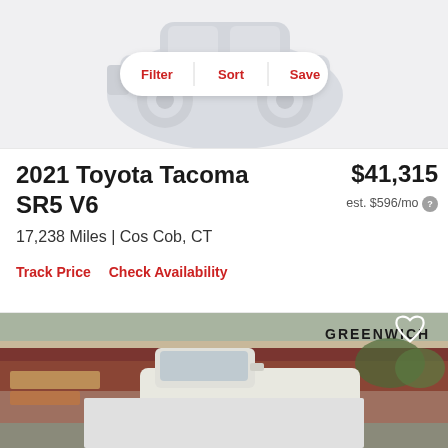[Figure (illustration): Gray car illustration (SUV/truck silhouette) at top of page with Filter, Sort, Save buttons overlay]
2021 Toyota Tacoma SR5 V6
$41,315
est. $596/mo
17,238 Miles | Cos Cob, CT
Track Price   Check Availability
[Figure (photo): Exterior photo of a white Toyota Tacoma parked at a dealership with 'GREENWICH' signage visible in the background. A heart/save icon is in the upper right corner.]